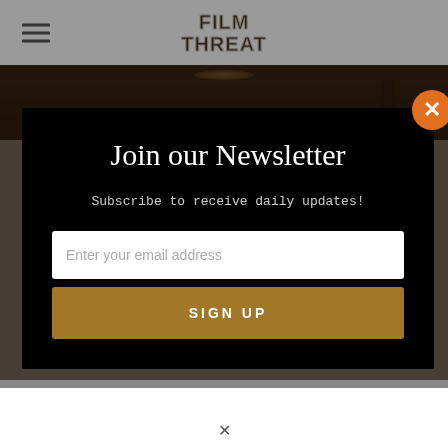Film Threat
[Figure (screenshot): Dark photo strip background showing a dimly lit room with a hanging lamp]
Join our Newsletter
Subscribe to receive daily updates!
Enter your email address
SIGN UP